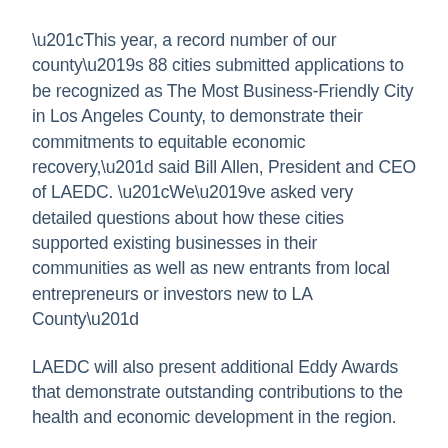“This year, a record number of our county’s 88 cities submitted applications to be recognized as The Most Business-Friendly City in Los Angeles County, to demonstrate their commitments to equitable economic recovery,” said Bill Allen, President and CEO of LAEDC. “We’ve asked very detailed questions about how these cities supported existing businesses in their communities as well as new entrants from local entrepreneurs or investors new to LA County”
LAEDC will also present additional Eddy Awards that demonstrate outstanding contributions to the health and economic development in the region.
The Hospital Association of Southern California  for its leadership on behalf of our hospitals and our health in the region.